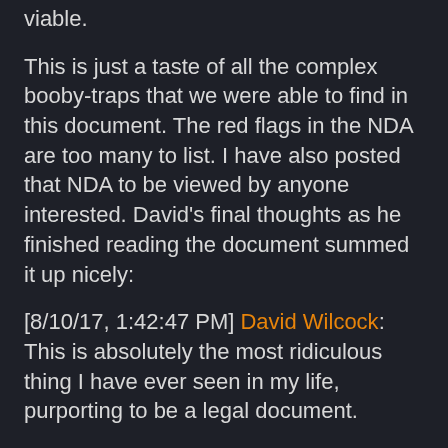viable.
This is just a taste of all the complex booby-traps that we were able to find in this document. The red flags in the NDA are too many to list. I have also posted that NDA to be viewed by anyone interested. David’s final thoughts as he finished reading the document summed it up nicely:
[8/10/17, 1:42:47 PM] David Wilcock: This is absolutely the most ridiculous thing I have ever seen in my life, purporting to be a legal document.
If I bothered to show this to an attorney he would be laughing so hard that I would have to get him to calm down before he could tell me “RUN!”
[8/10/17, 1:43:45 PM] Corey Goode: k, hav